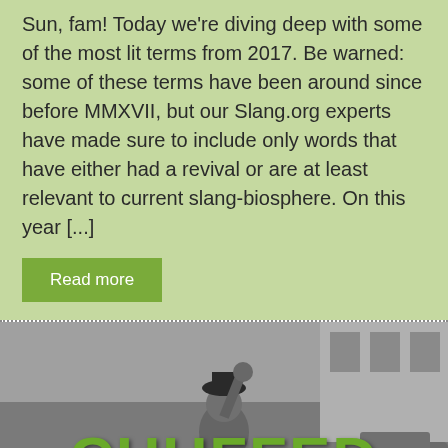Sun, fam! Today we're diving deep with some of the most lit terms from 2017. Be warned: some of these terms have been around since before MMXVII, but our Slang.org experts have made sure to include only words that have either had a revival or are at least relevant to current slang-biosphere. On this year [...]
Read more
[Figure (photo): Black and white historical photograph of a large crowd of people, with a man in the center raising his fist wearing a bowler hat, overlaid with the bold green text 'CHUFFED']